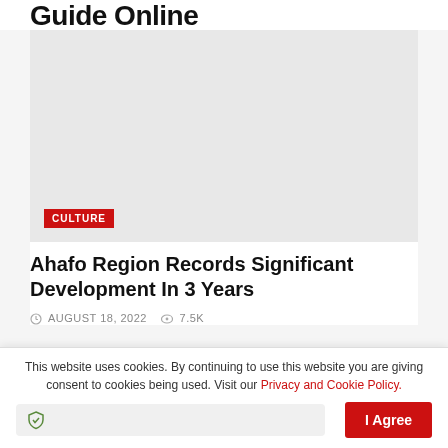Guide Online
[Figure (photo): Article card image placeholder with CULTURE category badge]
Ahafo Region Records Significant Development In 3 Years
AUGUST 18, 2022   7.5K
[Figure (photo): Next article card image placeholder]
This website uses cookies. By continuing to use this website you are giving consent to cookies being used. Visit our Privacy and Cookie Policy.